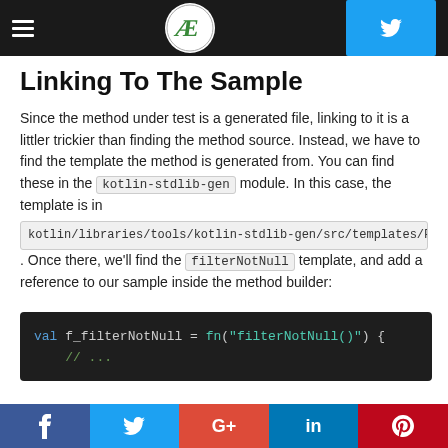Navigation header with hamburger menu, AE logo, and Twitter button
Linking To The Sample
Since the method under test is a generated file, linking to it is a littler trickier than finding the method source. Instead, we have to find the template the method is generated from. You can find these in the kotlin-stdlib-gen module. In this case, the template is in kotlin/libraries/tools/kotlin-stdlib-gen/src/templates/Filt. Once there, we'll find the filterNotNull template, and add a reference to our sample inside the method builder:
[Figure (screenshot): Code block showing: val f_filterNotNull = fn("filterNotNull()") { // ...]
Social share bar: Facebook, Twitter, Google+, LinkedIn, Pinterest